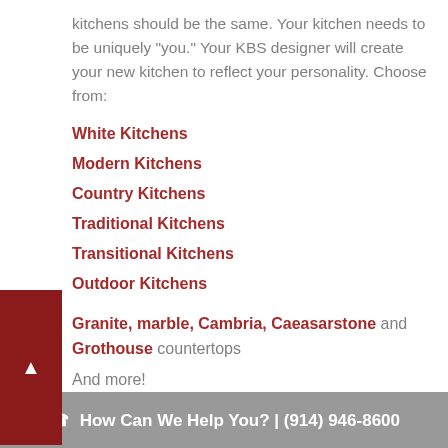kitchens should be the same. Your kitchen needs to be uniquely "you." Your KBS designer will create your new kitchen to reflect your personality. Choose from:
White Kitchens
Modern Kitchens
Country Kitchens
Traditional Kitchens
Transitional Kitchens
Outdoor Kitchens
Granite, marble, Cambria, Caeasarstone and Grothouse countertops
And more!
KBS Kitchen has the resources to provide you with all the options available for your new
☎ How Can We Help You? | (914) 946-8600